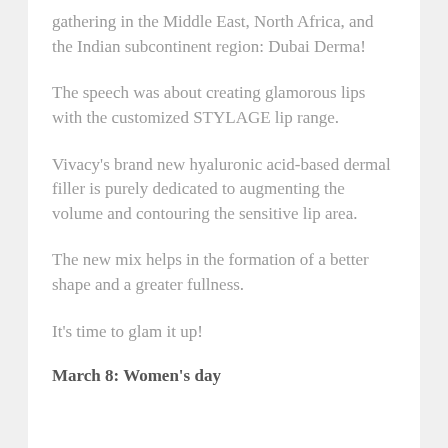gathering in the Middle East, North Africa, and the Indian subcontinent region: Dubai Derma!
The speech was about creating glamorous lips with the customized STYLAGE lip range.
Vivacy's brand new hyaluronic acid-based dermal filler is purely dedicated to augmenting the volume and contouring the sensitive lip area.
The new mix helps in the formation of a better shape and a greater fullness.
It's time to glam it up!
March 8: Women's day